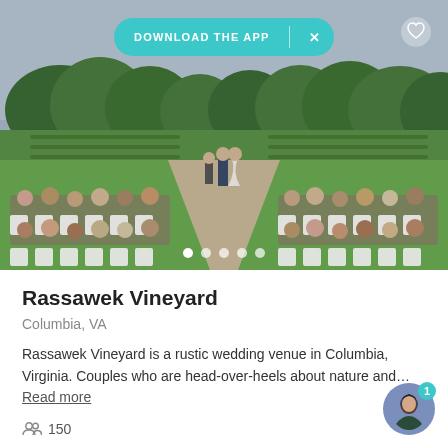[Figure (photo): Outdoor wedding ceremony at Rassawek Vineyard. Guests seated in white chairs in rows on either side of a grass aisle leading to a couple at the altar, surrounded by vineyard and trees in the background. Overcast sky.]
DOWNLOAD THE APP  X
Rassawek Vineyard
Columbia, VA
Rassawek Vineyard is a rustic wedding venue in Columbia, Virginia. Couples who are head-over-heels about nature and… Read more
150